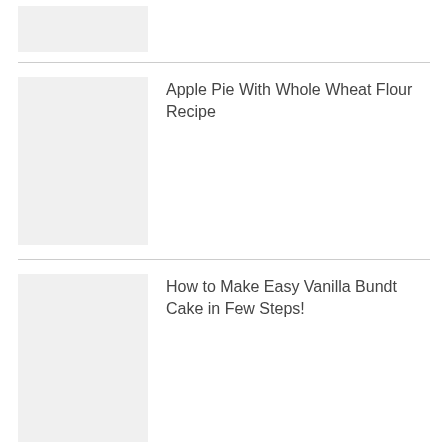[Figure (photo): Placeholder image (gray rectangle) for a recipe article]
Apple Pie With Whole Wheat Flour Recipe
[Figure (photo): Placeholder image (gray rectangle) for a recipe article]
How to Make Easy Vanilla Bundt Cake in Few Steps!
[Figure (photo): Placeholder image (gray rectangle) for a recipe article]
Apple Loaf Cake With Whole Wheat Flour Recipe. Flavor and Moisture Combination!